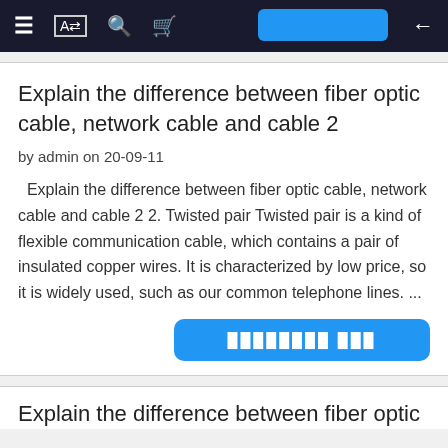≡  [A]  🔍  🛒  ←
Explain the difference between fiber optic cable, network cable and cable 2
by admin on 20-09-11
Explain the difference between fiber optic cable, network cable and cable 2 2. Twisted pair Twisted pair is a kind of flexible communication cable, which contains a pair of insulated copper wires. It is characterized by low price, so it is widely used, such as our common telephone lines. ...
Explain the difference between fiber optic